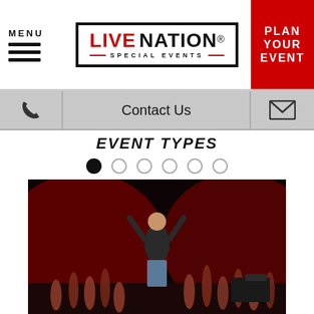MENU
[Figure (logo): Live Nation Special Events logo in a rectangular border with red LIVE and black NATION text]
PLAN YOUR EVENT
Contact Us
EVENT TYPES
[Figure (photo): Performer on stage with arms raised, crowd with hands up, red stage lighting]